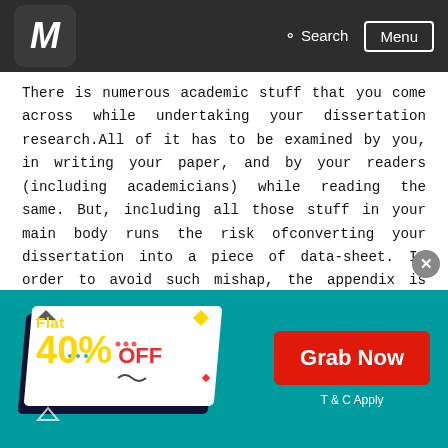M  Search  Menu
There is numerous academic stuff that you come across while undertaking your dissertation research.All of it has to be examined by you, in writing your paper, and by your readers (including academicians) while reading the same. But, including all those stuff in your main body runs the risk ofconverting your dissertation into a piece of data-sheet. In order to avoid such mishap, the appendix is used in an effective manner. So, now the question arises what to put in thesis/dissertation appendices. It includes:
Raw research data that was accumulated during
[Figure (infographic): Promotional banner with teal background showing 'Flat 40% OFF' discount offer with a 'Grab Now' red button and 'T & C Apply' text]